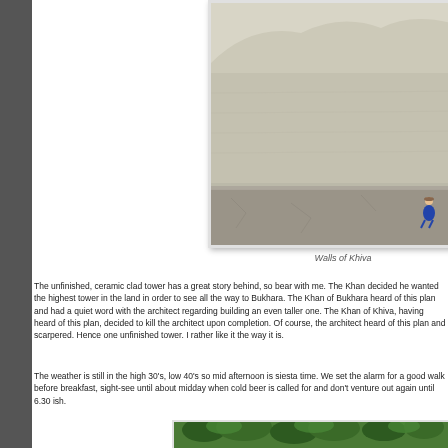[Figure (photo): Person sitting against the large mud/clay walls of Khiva, Uzbekistan. The wall takes up most of the frame, with the figure small in the lower right area.]
Walls of Khiva
The unfinished, ceramic clad tower has a great story behind, so bear with me. The Khan decided he wanted the highest tower in the land in order to see all the way to Bukhara. The Khan of Bukhara heard of this plan and had a quiet word with the architect regarding building an even taller one. The Khan of Khiva, having heard of this plan, decided to kill the architect upon completion. Of course, the architect heard of this plan and scarpered. Hence one unfinished tower. I rather like it the way it is.
The weather is still in the high 30's, low 40's so mid afternoon is siesta time. We set the alarm for a good walk before breakfast, sight-see until about midday when cold beer is called for and don't venture out again until 6.30 ish.
[Figure (photo): Trees and green foliage, partial view of a shaded outdoor area.]